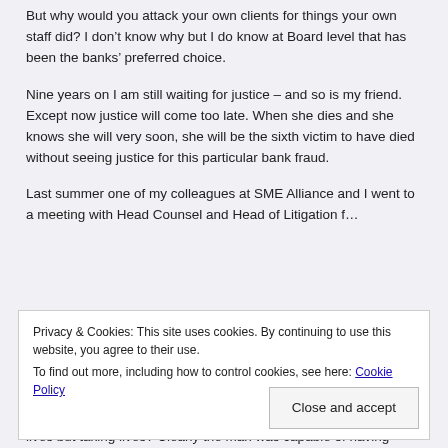But why would you attack your own clients for things your own staff did? I don't know why but I do know at Board level that has been the banks' preferred choice.
Nine years on I am still waiting for justice – and so is my friend. Except now justice will come too late. When she dies and she knows she will very soon, she will be the sixth victim to have died without seeing justice for this particular bank fraud.
Last summer one of my colleagues at SME Alliance and I went to a meeting with Head Counsel and Head of Litigation f...
Privacy & Cookies: This site uses cookies. By continuing to use this website, you agree to their use.
To find out more, including how to control cookies, see here: Cookie Policy
Close and accept
lives but taking lives? Clearly the man was capable of having